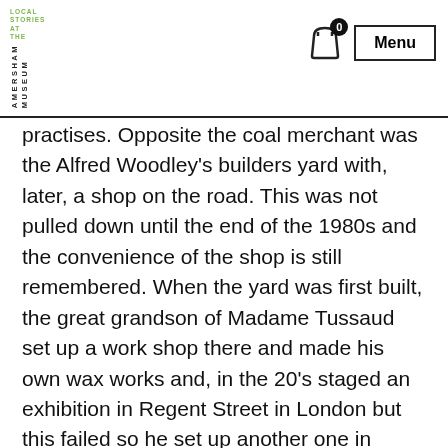LOCAL STORIES AT THE AMERSHAM MUSEUM | Menu
practises. Opposite the coal merchant was the Alfred Woodley’s builders yard with, later, a shop on the road. This was not pulled down until the end of the 1980s and the convenience of the shop is still remembered. When the yard was first built, the great grandson of Madame Tussaud set up a work shop there and made his own wax works and, in the 20’s staged an exhibition in Regent Street in London but this failed so he set up another one in Brighton. This later moved to Butlins when the workshop provided staging for it.
Number 5 Lexham Gardens was renamed Peacehaven in the 1930s and became a nursing home into the